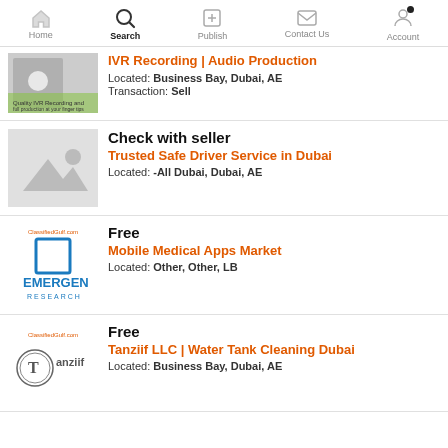Home | Search | Publish | Contact Us | Account
IVR Recording | Audio Production — Located: Business Bay, Dubai, AE — Transaction: Sell
Check with seller — Trusted Safe Driver Service in Dubai — Located: -All Dubai, Dubai, AE
Free — Mobile Medical Apps Market — Located: Other, Other, LB
Free — Tanziif LLC | Water Tank Cleaning Dubai — Located: Business Bay, Dubai, AE